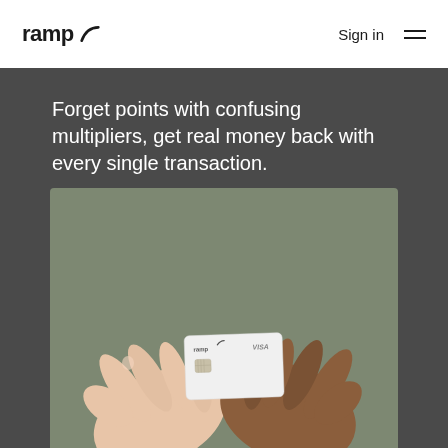ramp
Sign in
Forget points with confusing multipliers, get real money back with every single transaction.
[Figure (photo): Two hands exchanging a white Ramp Visa credit card against a muted olive/grey background. The card shows the Ramp logo and Visa branding.]